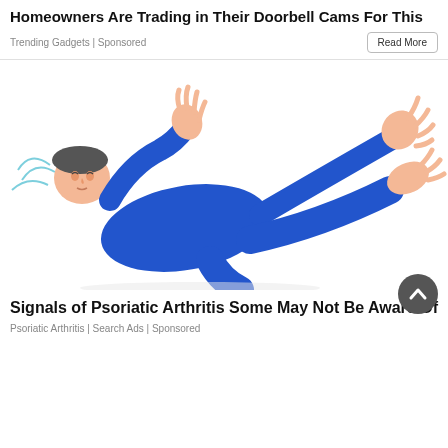Homeowners Are Trading in Their Doorbell Cams For This
Trending Gadgets | Sponsored
[Figure (illustration): Illustration of a person lying on the ground in a blue outfit, appearing to be in pain or falling, with arms and legs raised.]
Signals of Psoriatic Arthritis Some May Not Be Aware Of
Psoriatic Arthritis | Search Ads | Sponsored